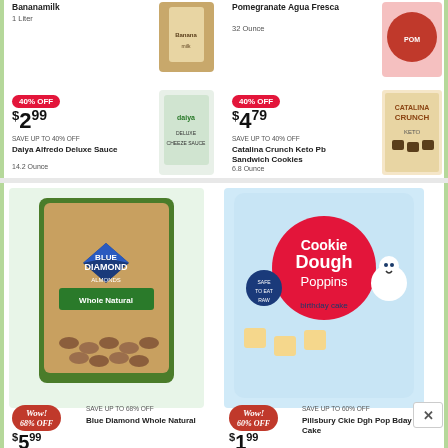Bananamilk
1 Liter
[Figure (photo): Bananamilk product photo]
[Figure (photo): 40% OFF badge - red pill]
$2 99
SAVE UP TO 40% OFF
Daiya Alfredo Deluxe Sauce
14.2 Ounce
[Figure (photo): Daiya Alfredo Deluxe Sauce product image]
[Figure (photo): 40% OFF badge - red pill]
Pomegranate Agua Fresca
32 Ounce
[Figure (photo): Pomegranate Agua Fresca product photo]
$4 79
SAVE UP TO 40% OFF
Catalina Crunch Keto Pb Sandwich Cookies
6.8 Ounce
[Figure (photo): Catalina Crunch Keto Cookies product image]
[Figure (photo): Blue Diamond Whole Natural almonds large bag]
[Figure (photo): Pillsbury Cookie Dough Poppins Birthday Cake product photo]
[Figure (photo): Wow 68% OFF badge]
SAVE UP TO 68% OFF
Blue Diamond Whole Natural
$5 99
[Figure (photo): Wow 60% OFF badge]
SAVE UP TO 60% OFF
Pillsbury Ckie Dgh Pop Bday Cake
$1 99